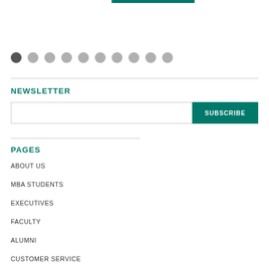[Figure (other): Partial green navigation bar cropped at the top of the page]
[Figure (other): Pagination dots: 10 dots with the first one dark/active and the rest light gray]
NEWSLETTER
SUBSCRIBE (email input field with subscribe button)
PAGES
ABOUT US
MBA STUDENTS
EXECUTIVES
FACULTY
ALUMNI
CUSTOMER SERVICE
PRIVACY POLICY